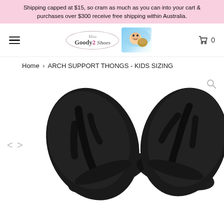Shipping capped at $15, so cram as much as you can into your cart & purchases over $300 receive free shipping within Australia.
[Figure (logo): Miss Goody 2 Shoes store logo with oval border and cartoon mascot image]
Home › ARCH SUPPORT THONGS - KIDS SIZING
[Figure (photo): Two black flip-flop sandals (thongs) with arch support, viewed from above on a white background]